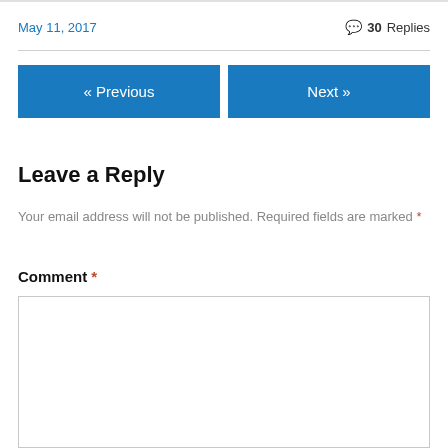May 11, 2017
💬 30 Replies
« Previous
Next »
Leave a Reply
Your email address will not be published. Required fields are marked *
Comment *